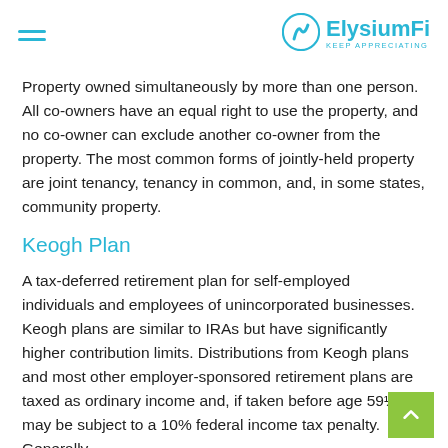ElysiumFi — KEEP APPRECIATING
Property owned simultaneously by more than one person. All co-owners have an equal right to use the property, and no co-owner can exclude another co-owner from the property. The most common forms of jointly-held property are joint tenancy, tenancy in common, and, in some states, community property.
Keogh Plan
A tax-deferred retirement plan for self-employed individuals and employees of unincorporated businesses. Keogh plans are similar to IRAs but have significantly higher contribution limits. Distributions from Keogh plans and most other employer-sponsored retirement plans are taxed as ordinary income and, if taken before age 59½, may be subject to a 10% federal income tax penalty. Generally,